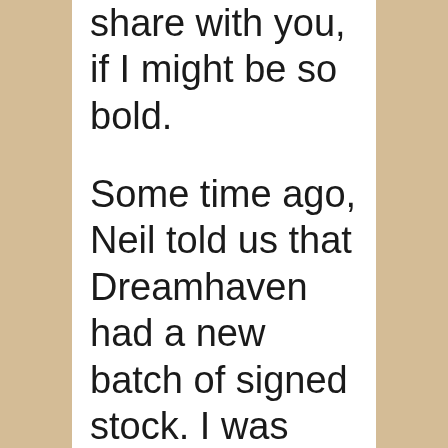share with you, if I might be so bold.
Some time ago, Neil told us that Dreamhaven had a new batch of signed stock. I was looking for a special gift for my honorary neiece and so ordered a signed copy of Blueberry Girl, feeling